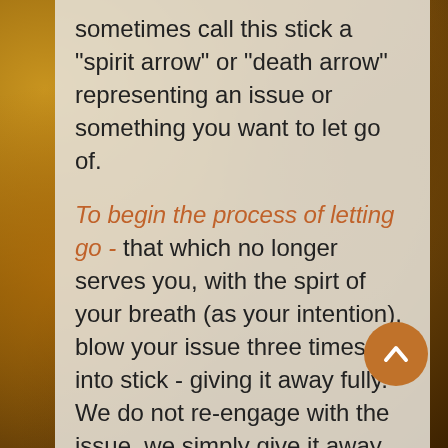sometimes call this stick a "spirit arrow" or "death arrow" representing an issue or something you want to let go of.
To begin the process of letting go - that which no longer serves you, with the spirt of your breath (as your intention), blow your issue three times into stick - giving it away fully.  We do not re-engage with the issue, we simply give it away.   Doing this serves to focus your attention in an active meditation to prepare for fire ceremony.  You can also write your issues down on small bits of paper and wrap them around the stick or